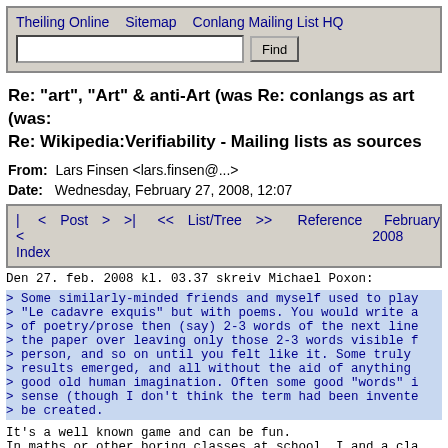Theiling Online   Sitemap   Conlang Mailing List HQ   [Find]
Re: "art", "Art" & anti-Art (was Re: conlangs as art (was: Re: Wikipedia:Verifiability - Mailing lists as sources
From: Lars Finsen <lars.finsen@...>
Date: Wednesday, February 27, 2008, 12:07
|<  <  Post  >  >|    <<  List/Tree  >>    Reference    February 2008 Index
Den 27. feb. 2008 kl. 03.37 skreiv Michael Poxon:
> Some similarly-minded friends and myself used to play
> "Le cadavre exquis" but with poems. You would write a
> of poetry/prose then (say) 2-3 words of the next line
> the paper over leaving only those 2-3 words visible f
> person, and so on until you felt like it. Some truly
> results emerged, and all without the aid of anything
> good old human imagination. Often some good "words" i
> sense (though I don't think the term had been invente
> be created.
It's a well known game and can be fun.
In maths or other boring classes at school, I and a cla
played a similar game, writing stories where we contrib